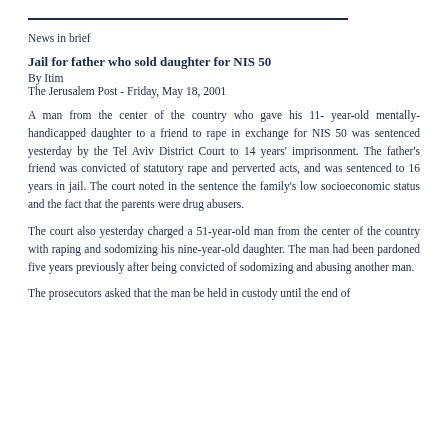News in brief
Jail for father who sold daughter for NIS 50
By Itim
The Jerusalem Post - Friday, May 18, 2001
A man from the center of the country who gave his 11- year-old mentally-handicapped daughter to a friend to rape in exchange for NIS 50 was sentenced yesterday by the Tel Aviv District Court to 14 years' imprisonment. The father's friend was convicted of statutory rape and perverted acts, and was sentenced to 16 years in jail. The court noted in the sentence the family's low socioeconomic status and the fact that the parents were drug abusers.
The court also yesterday charged a 51-year-old man from the center of the country with raping and sodomizing his nine-year-old daughter. The man had been pardoned five years previously after being convicted of sodomizing and abusing another man.
The prosecutors asked that the man be held in custody until the end of proceedings.